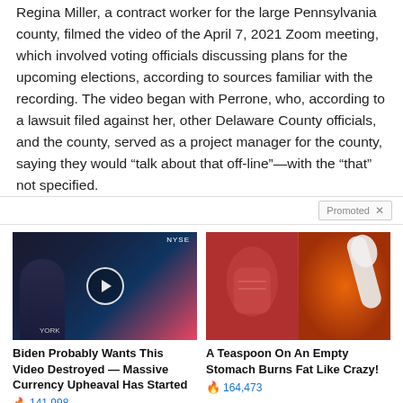Regina Miller, a contract worker for the large Pennsylvania county, filmed the video of the April 7, 2021 Zoom meeting, which involved voting officials discussing plans for the upcoming elections, according to sources familiar with the recording. The video began with Perrone, who, according to a lawsuit filed against her, other Delaware County officials, and the county, served as a project manager for the county, saying they would “talk about that off-line”—with the “that” not specified.
[Figure (screenshot): Two sponsored/promoted advertisement tiles. Left ad: a video thumbnail showing a man in a dark suit on a TV studio set with NYSE branding and a play button overlay, captioned 'Biden Probably Wants This Video Destroyed — Massive Currency Upheaval Has Started' with 141,998 engagements. Right ad: an image split between a fitness/abs photo and a spicy food/spoon image, captioned 'A Teaspoon On An Empty Stomach Burns Fat Like Crazy!' with 164,473 engagements.]